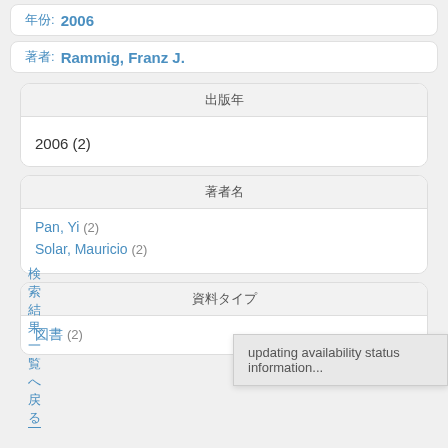年份: 2006
著者: Rammig, Franz J.
出版年
2006 (2)
著者名
Pan, Yi (2)
Solar, Mauricio (2)
資料タイプ
図書 (2)
updating availability status information...
検索結果一覧へ戻る